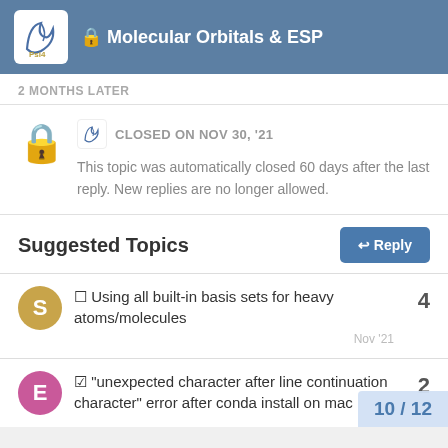Molecular Orbitals & ESP
2 MONTHS LATER
CLOSED ON NOV 30, '21
This topic was automatically closed 60 days after the last reply. New replies are no longer allowed.
Suggested Topics
Using all built-in basis sets for heavy atoms/molecules — 4 — Nov '21
☑ “unexpected character after line continuation character” error after conda install on mac — 2
10 / 12